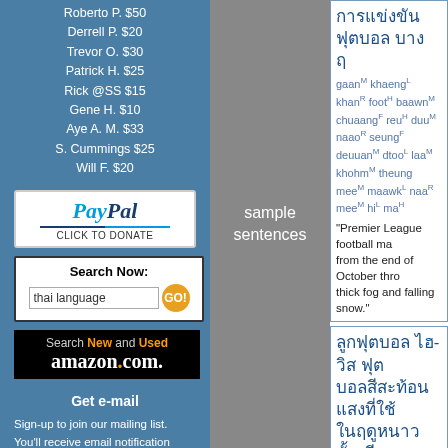Roberto P. $50
Derrell P. $20
Trevor O. $30
Patrick H. $25
Rick @SS $15
Gene H. $10
Aye A. M. $33
S. Cummings $25
Will F. $20
[Figure (logo): PayPal donate button]
[Figure (screenshot): Amazon search box for thai language]
Get e-mail
Sign-up to join our mailing list. You'll receive email notification when this site is updated. Your privacy is guaranteed; this list is not sold, shared, or used for any other purpose. Click here for more information.
To unsubscribe, click here.
sample sentences
Thai script entry 1 with romanization: gaan khaeng khan foot baawn chuaang reu duu naao seung deuuan dtoo laa khohm theung mee maawk naa mee hi ma
"Premier League football matches from the end of October through thick fog and falling snow."
Thai script entry 2 with romanization: luuk foot baawn hai wit roon reu duu naao reu duu gaan baawn see leuuang pha sohm thaaep see muaang khaat raaw
"The hi-vis winter footballs which winter are yellow mixed with purple stripes."
Thai script entry 3 (partial)